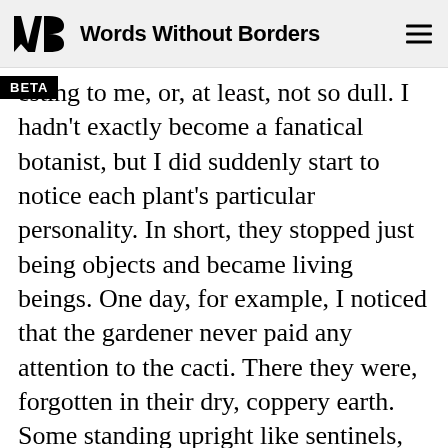Words Without Borders
esting to me, or, at least, not so dull. I hadn't exactly become a fanatical botanist, but I did suddenly start to notice each plant's particular personality. In short, they stopped just being objects and became living beings. One day, for example, I noticed that the gardener never paid any attention to the cacti. There they were, forgotten in their dry, coppery earth. Some standing upright like sentinels, others shaped like little balls, hugging the ground, assuming the circumspect position of a hedgehog. I approached their pot and stood observing them a few minutes. There didn't seem to be any movement among them, besides this rigid